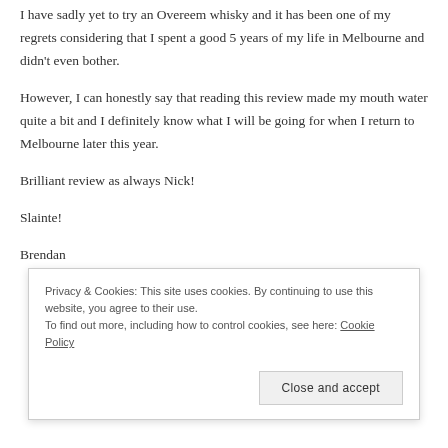I have sadly yet to try an Overeem whisky and it has been one of my regrets considering that I spent a good 5 years of my life in Melbourne and didn't even bother.
However, I can honestly say that reading this review made my mouth water quite a bit and I definitely know what I will be going for when I return to Melbourne later this year.
Brilliant review as always Nick!
Slainte!
Brendan
Privacy & Cookies: This site uses cookies. By continuing to use this website, you agree to their use.
To find out more, including how to control cookies, see here: Cookie Policy
Close and accept